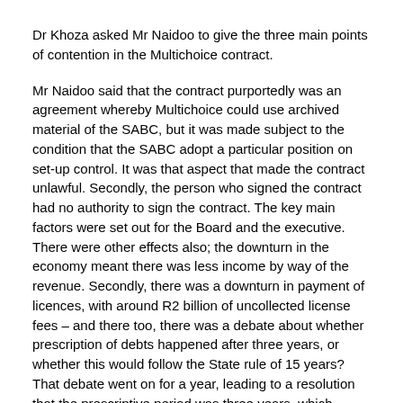Dr Khoza asked Mr Naidoo to give the three main points of contention in the Multichoice contract.
Mr Naidoo said that the contract purportedly was an agreement whereby Multichoice could use archived material of the SABC, but it was made subject to the condition that the SABC adopt a particular position on set-up control. It was that aspect that made the contract unlawful. Secondly, the person who signed the contract had no authority to sign the contract. The key main factors were set out for the Board and the executive. There were other effects also; the downturn in the economy meant there was less income by way of the revenue. Secondly, there was a downturn in payment of licences, with around R2 billion of uncollected license fees – and there too, there was a debate about whether prescription of debts happened after three years, or whether this would follow the State rule of 15 years? That debate went on for a year, leading to a resolution that the prescriptive period was three years, which meant that SABC now had to write off R2 billion of debt. There were other issues concerning VAT, and when it was charged hen paying licence fees to SABC. He and others spent a lot of time trying to resolve these issues – with some success.